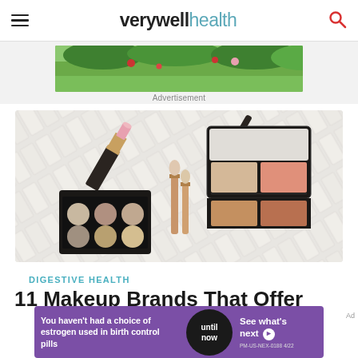verywell health
[Figure (photo): Advertisement banner image showing garden with red and pink flowers and green shrubs]
Advertisement
[Figure (photo): Flatlay photo of makeup products on white tile surface: pink lipstick, foundation pencil, eyeshadow palette (black compact with 6 neutral shades), blush/contour palette (4 shades), and rose-gold makeup brushes]
DIGESTIVE HEALTH
11 Makeup Brands That Offer
[Figure (infographic): Purple advertisement banner: 'You haven't had a choice of estrogen used in birth control pills' / black circle with 'until now' / 'See what's next' with arrow / PM-US-NEX-0188 4/22]